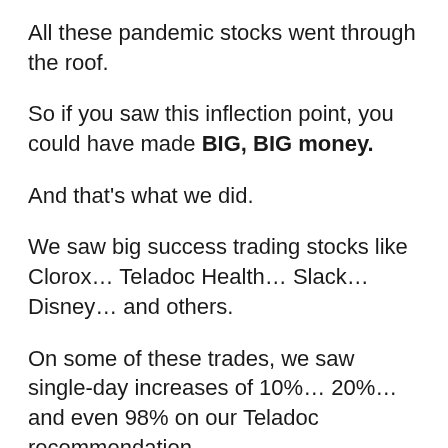All these pandemic stocks went through the roof.
So if you saw this inflection point, you could have made BIG, BIG money.
And that's what we did.
We saw big success trading stocks like Clorox… Teladoc Health… Slack… Disney… and others.
On some of these trades, we saw single-day increases of 10%… 20%… and even 98% on our Teladoc recommendation.
That's how fast some of the gains were